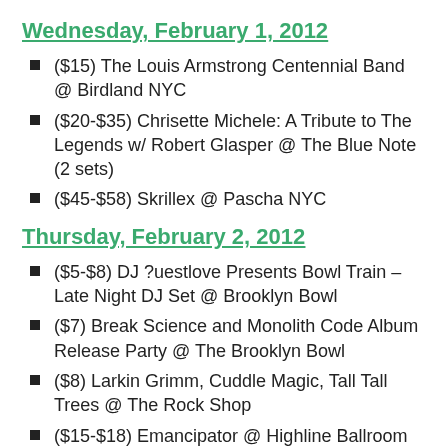Wednesday, February 1, 2012
($15) The Louis Armstrong Centennial Band @ Birdland NYC
($20-$35) Chrisette Michele: A Tribute to The Legends w/ Robert Glasper @ The Blue Note (2 sets)
($45-$58) Skrillex @ Pascha NYC
Thursday, February 2, 2012
($5-$8) DJ ?uestlove Presents Bowl Train – Late Night DJ Set @ Brooklyn Bowl
($7) Break Science and Monolith Code Album Release Party @ The Brooklyn Bowl
($8) Larkin Grimm, Cuddle Magic, Tall Tall Trees @ The Rock Shop
($15-$18) Emancipator @ Highline Ballroom